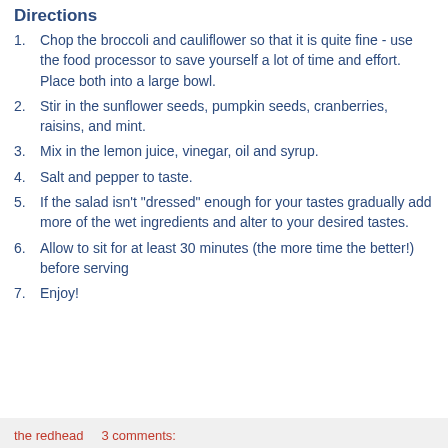Directions
Chop the broccoli and cauliflower so that it is quite fine - use the food processor to save yourself a lot of time and effort. Place both into a large bowl.
Stir in the sunflower seeds, pumpkin seeds, cranberries, raisins, and mint.
Mix in the lemon juice, vinegar, oil and syrup.
Salt and pepper to taste.
If the salad isn't "dressed" enough for your tastes gradually add more of the wet ingredients and alter to your desired tastes.
Allow to sit for at least 30 minutes (the more time the better!) before serving
Enjoy!
the redhead    3 comments: